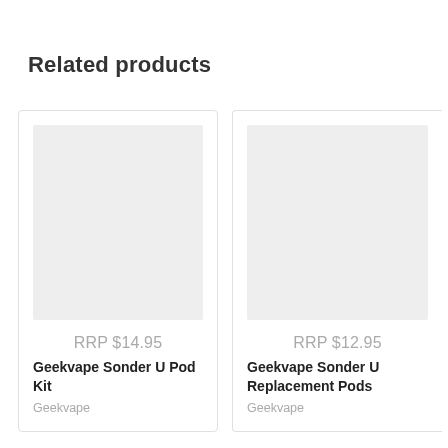Related products
[Figure (photo): Product image placeholder for Geekvape Sonder U Pod Kit — gray rectangle]
RRP $14.95
Geekvape Sonder U Pod Kit
Geekvape
[Figure (photo): Product image placeholder for Geekvape Sonder U Replacement Pods — gray rectangle]
RRP $12.95
Geekvape Sonder U Replacement Pods
Geekvape